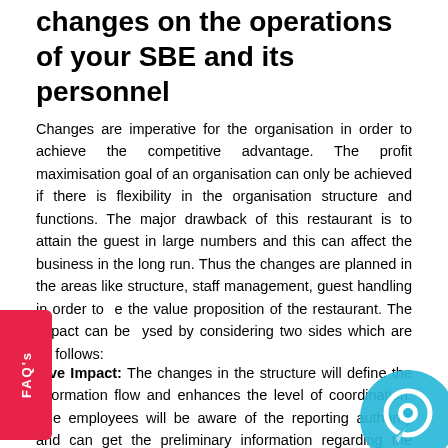changes on the operations of your SBE and its personnel
Changes are imperative for the organisation in order to achieve the competitive advantage. The profit maximisation goal of an organisation can only be achieved if there is flexibility in the organisation structure and functions. The major drawback of this restaurant is to attain the guest in large numbers and this can affect the business in the long run. Thus the changes are planned in the areas like structure, staff management, guest handling in order to enhance the value proposition of the restaurant. The impact can be analysed by considering two sides which are as follows:
Positive Impact: The changes in the structure will define the information flow and enhances the level of coordination. The employees will be aware of the reporting authority and can get the preliminary information regarding the responsibilities. The participative style will enhance the level of motivation among the staffs without increasing any cost for the organisation. The monitoring of the performances will reflect the true productivity level